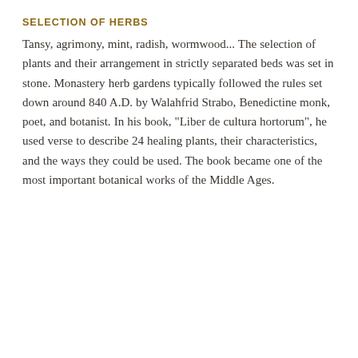SELECTION OF HERBS
Tansy, agrimony, mint, radish, wormwood... The selection of plants and their arrangement in strictly separated beds was set in stone. Monastery herb gardens typically followed the rules set down around 840 A.D. by Walahfrid Strabo, Benedictine monk, poet, and botanist. In his book, "Liber de cultura hortorum", he used verse to describe 24 healing plants, their characteristics, and the ways they could be used. The book became one of the most important botanical works of the Middle Ages.